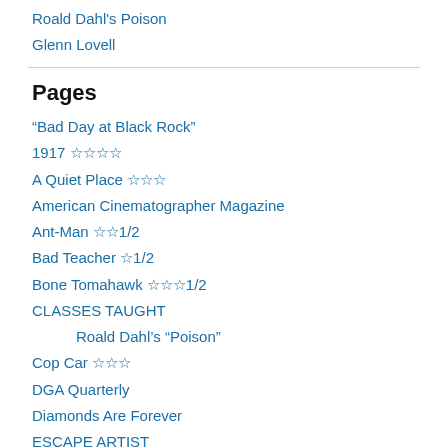Roald Dahl's Poison
Glenn Lovell
Pages
“Bad Day at Black Rock”
1917 ☆☆☆☆
A Quiet Place ☆☆☆
American Cinematographer Magazine
Ant-Man ☆☆½
Bad Teacher ☆½
Bone Tomahawk ☆☆☆½
CLASSES TAUGHT
Roald Dahl’s “Poison”
Cop Car ☆☆☆
DGA Quarterly
Diamonds Are Forever
ESCAPE ARTIST
#239 (no title)
Every Time I Die ☆☆